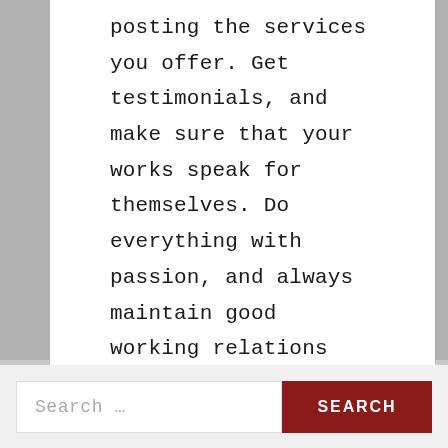posting the services you offer. Get testimonials, and make sure that your works speak for themselves. Do everything with passion, and always maintain good working relations with your customers. By the time you conclude your business with them, your business should have gained more credibility.
Search ...